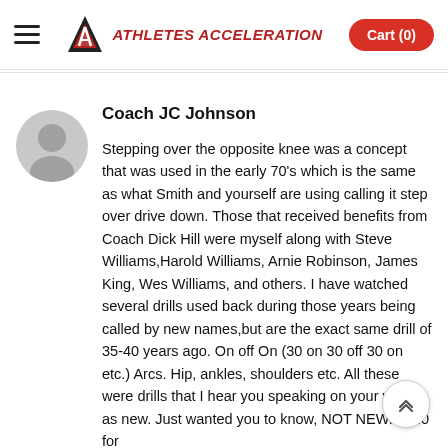Athletes Acceleration — Cart (0)
Coach JC Johnson
Stepping over the opposite knee was a concept that was used in the early 70's which is the same as what Smith and yourself are using calling it step over drive down. Those that received benefits from Coach Dick Hill were myself along with Steve Williams,Harold Williams, Arnie Robinson, James King, Wes Williams, and others. I have watched several drills used back during those years being called by new names,but are the exact same drill of 35-40 years ago. On off On (30 on 30 off 30 on etc.) Arcs. Hip, ankles, shoulders etc. All these were drills that I hear you speaking on your video as new. Just wanted you to know, NOT NEW. 2010 for